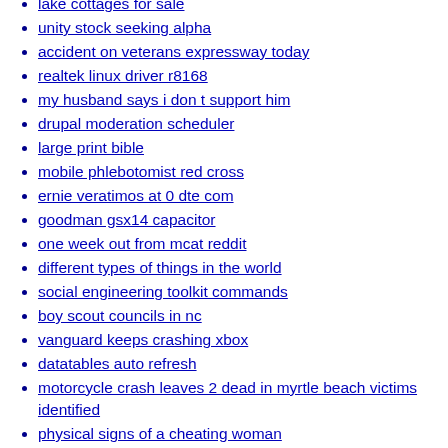lake cottages for sale
unity stock seeking alpha
accident on veterans expressway today
realtek linux driver r8168
my husband says i don t support him
drupal moderation scheduler
large print bible
mobile phlebotomist red cross
ernie veratimos at 0 dte com
goodman gsx14 capacitor
one week out from mcat reddit
different types of things in the world
social engineering toolkit commands
boy scout councils in nc
vanguard keeps crashing xbox
datatables auto refresh
motorcycle crash leaves 2 dead in myrtle beach victims identified
physical signs of a cheating woman
toy poodles for sale in nc
nike usa softball apparel
cottages for sale near bath
xxx anal stretching sex
homes for sale in midland city al
how to get a guy to text you back